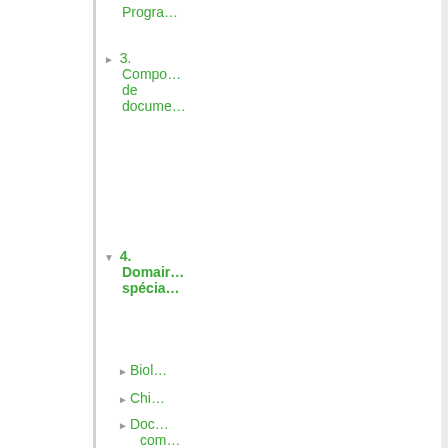Progra…
3. Compo… de docume…
4. Domaine spécia…
Biol…
Chi…
Doc… com…
Com… scie…
Com…
Diam…
Doc… tech…
Éco… dom…